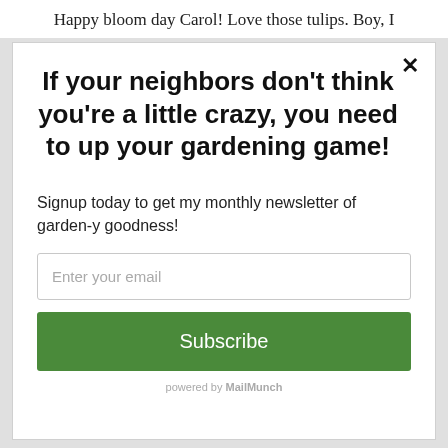Happy bloom day Carol! Love those tulips. Boy, I
If your neighbors don't think you're a little crazy, you need to up your gardening game!
Signup today to get my monthly newsletter of garden-y goodness!
Enter your email
Subscribe
powered by MailMunch